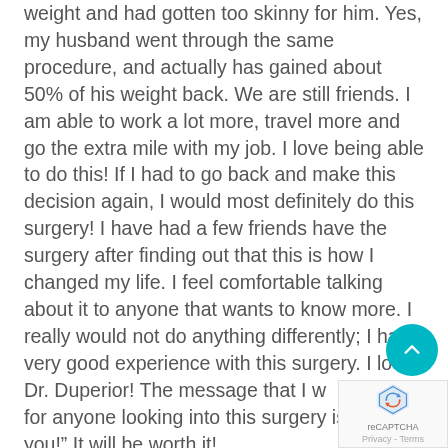weight and had gotten too skinny for him. Yes, my husband went through the same procedure, and actually has gained about 50% of his weight back. We are still friends. I am able to work a lot more, travel more and go the extra mile with my job. I love being able to do this! If I had to go back and make this decision again, I would most definitely do this surgery! I have had a few friends have the surgery after finding out that this is how I changed my life. I feel comfortable talking about it to anyone that wants to know more. I really would not do anything differently; I had a very good experience with this surgery. I love Dr. Duperior! The message that I have for anyone looking into this surgery is "just for you!" It will be worth it!
[Figure (other): Teal circular scroll-to-top button with upward chevron arrow]
[Figure (logo): reCAPTCHA logo with Privacy and Terms text]